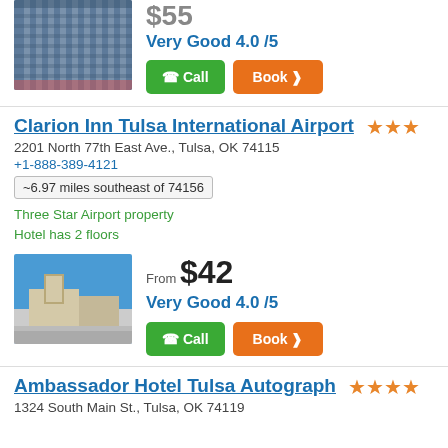[Figure (photo): Hotel building exterior photo (top, partially visible) - tall striped building]
Very Good 4.0 /5
Call  Book
Clarion Inn Tulsa International Airport
2201 North 77th East Ave., Tulsa, OK 74115
+1-888-389-4121
~6.97 miles southeast of 74156
Three Star Airport property
Hotel has 2 floors
[Figure (photo): Clarion Inn Tulsa exterior photo - beige building with blue sky]
From $42
Very Good 4.0 /5
Call  Book
Ambassador Hotel Tulsa Autograph
1324 South Main St., Tulsa, OK 74119